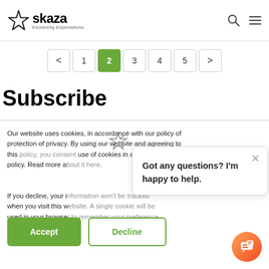[Figure (logo): Skaza logo with star icon and tagline 'Exceeding Expectations']
[Figure (infographic): Pagination bar showing pages < 1 2 3 4 5 > with page 2 highlighted in green]
Subscribe
Our website uses cookies, in accordance with our policy of protection of privacy. By using our website and agreeing to this policy, you consent use of cookies in accord policy. Read more a
If you decline, your i when you visit this w used in your browse not to be tracked.
[Figure (screenshot): Chat popup with X close button and text 'Got any questions? I'm happy to help.']
[Figure (infographic): Green Accept button and Decline button with green border]
[Figure (infographic): Chat button (orange/red circular icon) in bottom right corner]